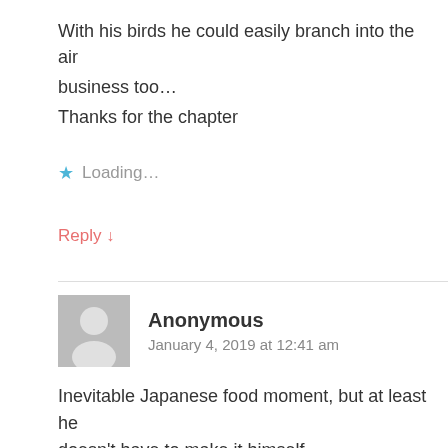With his birds he could easily branch into the air business too…
Thanks for the chapter
Loading...
Reply ↓
Anonymous
January 4, 2019 at 12:41 am
Inevitable Japanese food moment, but at least he doesn't have to make it himself.
Miyabi for waifu tho?